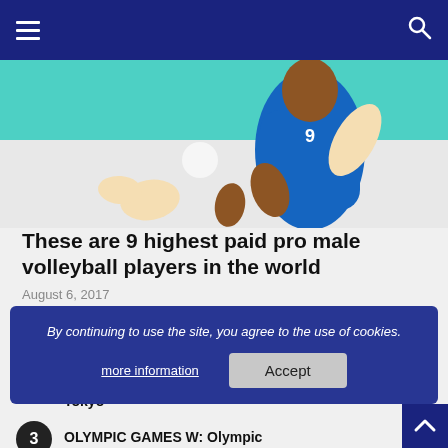Navigation bar with hamburger menu and search icon
[Figure (photo): Volleyball player in blue uniform at net, action shot]
These are 9 highest paid pro male volleyball players in the world
August 6, 2017
2 OLYMPIC GAMES W: Tandara suspended for potential violation of anti-doping rules, ends participation in Tokyo
August 5, 2021
By continuing to use the site, you agree to the use of cookies.
more information   Accept
3 OLYMPIC GAMES W: Olympic